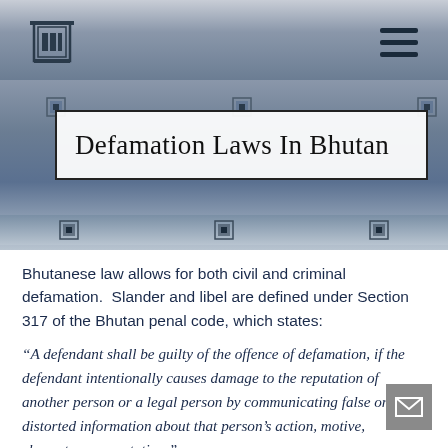[Figure (logo): Building/institution logo icon in navigation bar]
Defamation Laws In Bhutan
Bhutanese law allows for both civil and criminal defamation.  Slander and libel are defined under Section 317 of the Bhutan penal code, which states:
“A defendant shall be guilty of the offence of defamation, if the defendant intentionally causes damage to the reputation of another person or a legal person by communicating false or distorted information about that person’s action, motive, character or reputation.”